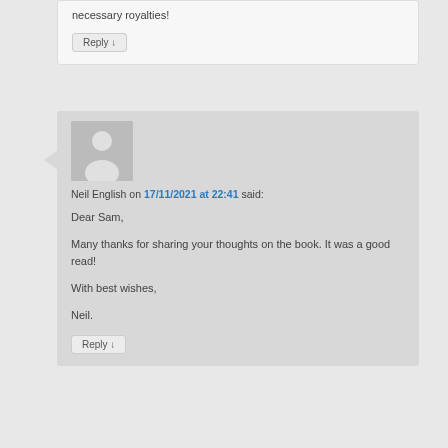necessary royalties!
Reply ↓
Neil English on 17/11/2021 at 22:41 said:
Dear Sam,

Many thanks for sharing your thoughts on the book. It was a good read!

With best wishes,

Neil.
Reply ↓